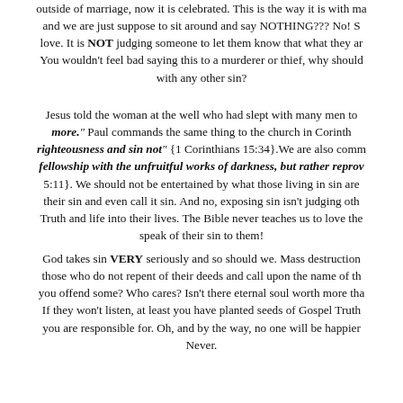outside of marriage, now it is celebrated. This is the way it is with ma and we are just suppose to sit around and say NOTHING??? No! S love. It is NOT judging someone to let them know that what they ar You wouldn't feel bad saying this to a murderer or thief, why should with any other sin?
Jesus told the woman at the well who had slept with many men to more." Paul commands the same thing to the church in Corinth righteousness and sin not" {1 Corinthians 15:34}.We are also comm fellowship with the unfruitful works of darkness, but rather reprov 5:11}. We should not be entertained by what those living in sin are their sin and even call it sin. And no, exposing sin isn't judging oth Truth and life into their lives. The Bible never teaches us to love the speak of their sin to them!
God takes sin VERY seriously and so should we. Mass destruction those who do not repent of their deeds and call upon the name of th you offend some? Who cares? Isn't there eternal soul worth more tha If they won't listen, at least you have planted seeds of Gospel Truth you are responsible for. Oh, and by the way, no one will be happier Never.